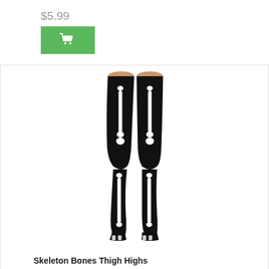$5.99
[Figure (illustration): Green add-to-cart button with shopping cart icon]
[Figure (photo): Skeleton Bones Thigh Highs stockings product image showing black thigh-high stockings with white skeleton bone print]
Skeleton Bones Thigh Highs